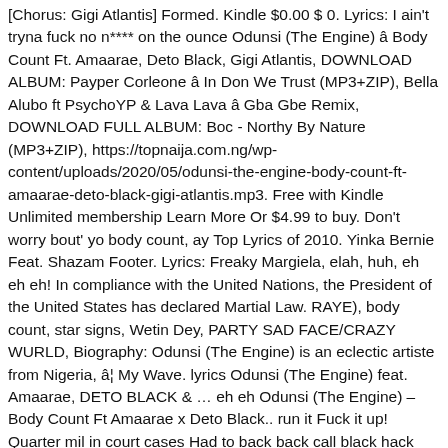[Chorus: Gigi Atlantis] Formed. Kindle $0.00 $ 0. Lyrics: I ain't tryna fuck no n**** on the ounce Odunsi (The Engine) â Body Count Ft. Amaarae, Deto Black, Gigi Atlantis, DOWNLOAD ALBUM: Payper Corleone â In Don We Trust (MP3+ZIP), Bella Alubo ft PsychoYP & Lava Lava â Gba Gbe Remix, DOWNLOAD FULL ALBUM: Boc - Northy By Nature (MP3+ZIP), https://topnaija.com.ng/wp-content/uploads/2020/05/odunsi-the-engine-body-count-ft-amaarae-deto-black-gigi-atlantis.mp3. Free with Kindle Unlimited membership Learn More Or $4.99 to buy. Don't worry bout' yo body count, ay Top Lyrics of 2010. Yinka Bernie Feat. Shazam Footer. Lyrics: Freaky Margiela, elah, huh, eh eh eh! In compliance with the United Nations, the President of the United States has declared Martial Law. RAYE), body count, star signs, Wetin Dey, PARTY SAD FACE/CRAZY WURLD, Biography: Odunsi (The Engine) is an eclectic artiste from Nigeria, â¦ My Wave. lyrics Odunsi (The Engine) feat. Amaarae, DETO BLACK & … eh eh Odunsi (The Engine) – Body Count Ft Amaarae x Deto Black.. run it Fuck it up! Quarter mil in court cases Had to back back call black hack (brr) eh eh No! 276